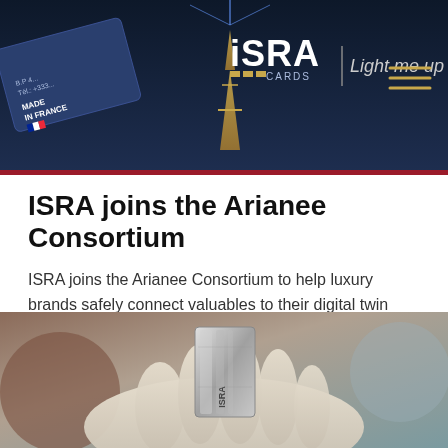[Figure (photo): ISRA Cards website header banner showing dark blue background with Eiffel Tower illuminated at night, a business card reading 'MADE IN FRANCE', and the ISRA CARDS logo with tagline 'Light me up'. Hamburger menu icon in top right corner.]
ISRA joins the Arianee Consortium
ISRA joins the Arianee Consortium to help luxury brands safely connect valuables to their digital twin through a 100% blockchain compatible NFC crypto Tag
[Figure (photo): Close-up photo of a gloved hand holding a small metallic NFC chip/tag with ISRA branding visible on the surface.]